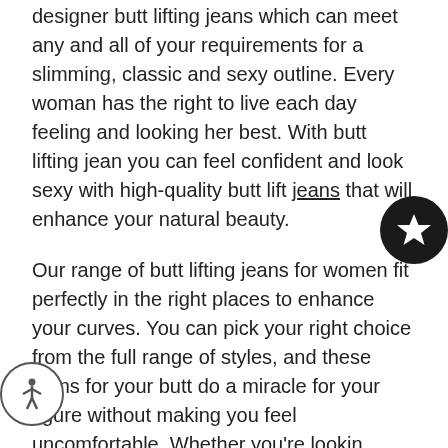designer butt lifting jeans which can meet any and all of your requirements for a slimming, classic and sexy outline. Every woman has the right to live each day feeling and looking her best. With butt lifting jean you can feel confident and look sexy with high-quality butt lift jeans that will enhance your natural beauty.
Our range of butt lifting jeans for women fit perfectly in the right places to enhance your curves. You can pick your right choice from the full range of styles, and these jeans for your butt do a miracle for your figure without making you feel uncomfortable. Whether you're looking for Levanta cola jeans or Brazilian jeans,ModaXpress has everything covered.
Highlight your best features with the perfect butt lifting jean. Whether you're looking for Colombian jean for a special occasion or butt jeans for daily use, our premier collection of jeans offers a range of Levanta Cola jeans which are just as lovely as you. Try out the collection of sunrise jeans and enjoy the compliments. Our collection of butt shapers includes a variety of Brazilian